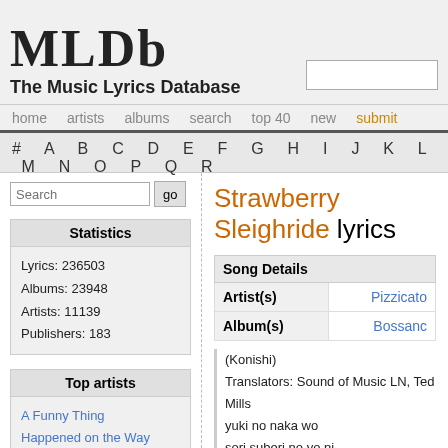MLDb The Music Lyrics Database
home artists albums search top 40 new submit
# A B C D E F G H I J K L M N O P Q R
Strawberry Sleighride lyrics
| Song Details |  |
| --- | --- |
| Artist(s) | Pizzicato |
| Album(s) | Bossano |
(Konishi)
Translators: Sound of Music LN, Ted Mills
yuki no naka wo
sori suberi no yo ni
futari noseta
kisha ga hashitteku
rokuju shichi nen nigatsu no
ichigo batake mo
sukkari shiroi fuyu-geshiki
Statistics
Lyrics: 236503
Albums: 23948
Artists: 11139
Publishers: 183
Top artists
A Funny Thing Happened on the Way